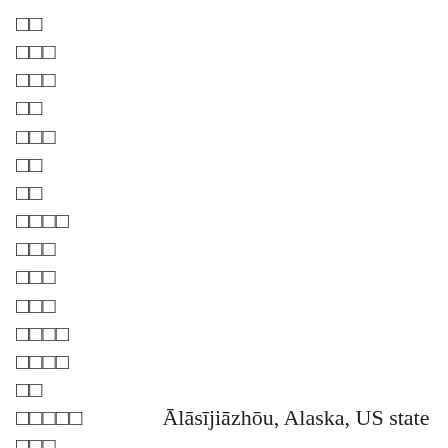□□
□□□
□□□
□□
□□□
□□
□□
□□□□
□□□
□□□
□□□
□□□□
□□□□
□□
□□□□□    Ālāsījiāzhōu, Alaska, US state
□□□
□□